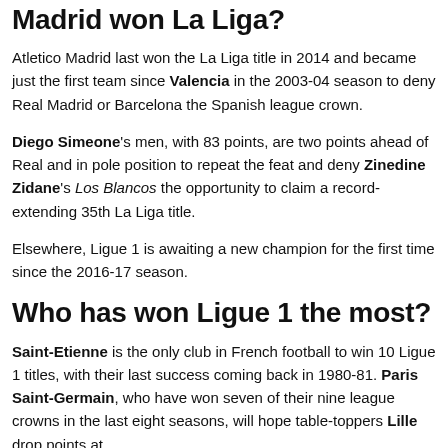Madrid won La Liga?
Atletico Madrid last won the La Liga title in 2014 and became just the first team since Valencia in the 2003-04 season to deny Real Madrid or Barcelona the Spanish league crown.
Diego Simeone's men, with 83 points, are two points ahead of Real and in pole position to repeat the feat and deny Zinedine Zidane's Los Blancos the opportunity to claim a record-extending 35th La Liga title.
Elsewhere, Ligue 1 is awaiting a new champion for the first time since the 2016-17 season.
Who has won Ligue 1 the most?
Saint-Etienne is the only club in French football to win 10 Ligue 1 titles, with their last success coming back in 1980-81. Paris Saint-Germain, who have won seven of their nine league crowns in the last eight seasons, will hope table-toppers Lille drop points at